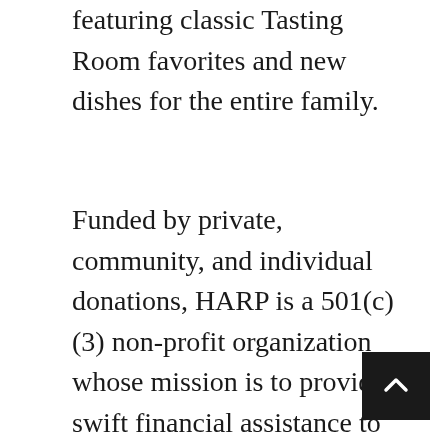featuring classic Tasting Room favorites and new dishes for the entire family.
Funded by private, community, and individual donations, HARP is a 501(c)(3) non-profit organization whose mission is to provide swift financial assistance to front-line employees of Pennsylvania hospitality businesses. “Industry employees are experiencing significant hardships due to the abrupt closure of their restaurants and hotels in an effort to slow the spread of COVID-19,” said John L...